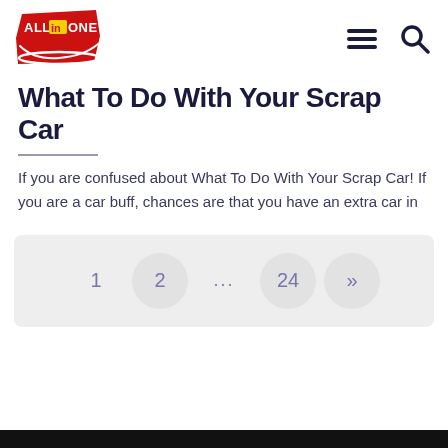[Figure (logo): All in One logo — red banner with stylized text 'ALL in ONE' in white and yellow letters]
What To Do With Your Scrap Car
If you are confused about What To Do With Your Scrap Car! If you are a car buff, chances are that you have an extra car in
Pagination: 1  2  ...  24  »